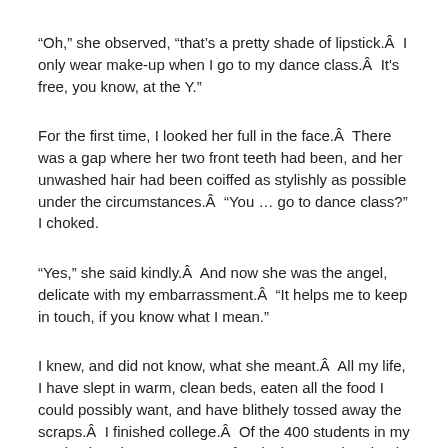“Oh,” she observed, “that’s a pretty shade of lipstick.Â  I only wear make-up when I go to my dance class.Â  It's free, you know, at the Y.”
For the first time, I looked her full in the face.Â  There was a gap where her two front teeth had been, and her unwashed hair had been coiffed as stylishly as possible under the circumstances.Â  “You … go to dance class?” I choked.
“Yes,” she said kindly.Â  And now she was the angel, delicate with my embarrassment.Â  “It helps me to keep in touch, if you know what I mean.”
I knew, and did not know, what she meant.Â  All my life, I have slept in warm, clean beds, eaten all the food I could possibly want, and have blithely tossed away the scraps.Â  I finished college.Â  Of the 400 students in my graduating class, I was one of 24 lucky enough to land a job, and I’ve been working ever since.Â Â  So I could not bring myself